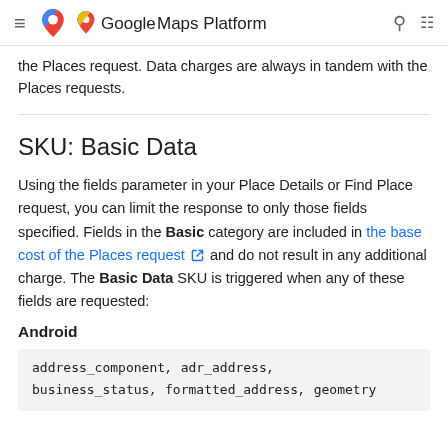Google Maps Platform
the Places request. Data charges are always in tandem with the Places requests.
SKU: Basic Data
Using the fields parameter in your Place Details or Find Place request, you can limit the response to only those fields specified. Fields in the Basic category are included in the base cost of the Places request and do not result in any additional charge. The Basic Data SKU is triggered when any of these fields are requested:
Android
address_component, adr_address,
business_status, formatted_address, geometry